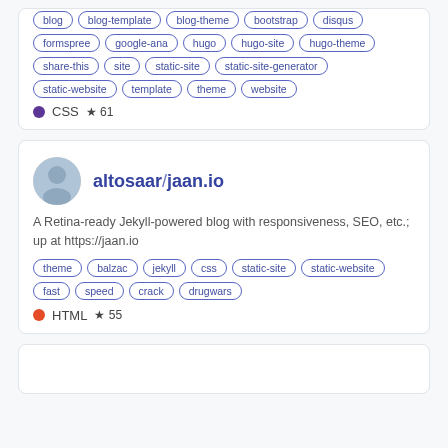blog, blog-template, blog-theme, bootstrap, disqus, formspree, google-ana, hugo, hugo-site, hugo-theme, share-this, site, static-site, static-site-generator, static-website, template, theme, website
CSS ☆61
altosaar/jaan.io
A Retina-ready Jekyll-powered blog with responsiveness, SEO, etc.; up at https://jaan.io
theme, balzac, jekyll, css, static-site, static-website, fast, speed, crack, drugwars
HTML ☆55